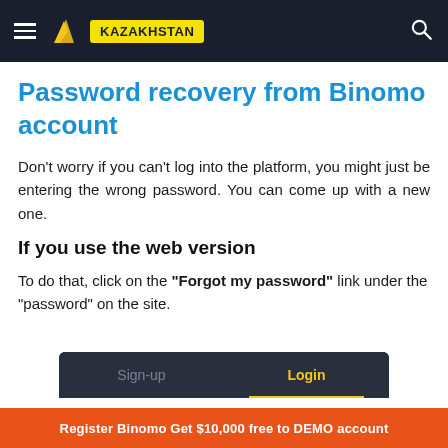KAZAKHSTAN
Password recovery from Binomo account
Don't worry if you can't log into the platform, you might just be entering the wrong password. You can come up with a new one.
If you use the web version
To do that, click on the "Forgot my password" link under the "password" on the site.
[Figure (screenshot): Login widget with Sign-up and Login tabs on dark background. Login tab is selected with yellow underline.]
Register Binomo Get $10,000 free to DEMO account